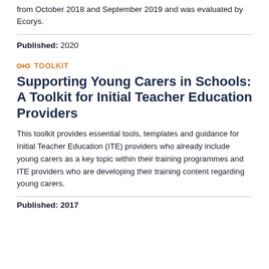from October 2018 and September 2019 and was evaluated by Ecorys.
Published: 2020
TOOLKIT
Supporting Young Carers in Schools: A Toolkit for Initial Teacher Education Providers
This toolkit provides essential tools, templates and guidance for Initial Teacher Education (ITE) providers who already include young carers as a key topic within their training programmes and ITE providers who are developing their training content regarding young carers.
Published: 2017